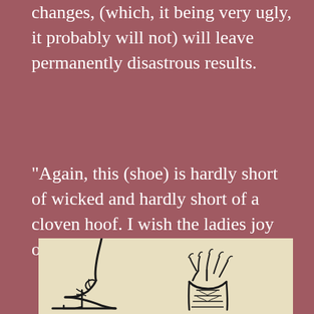changes, (which, it being very ugly, it probably will not) will leave permanently disastrous results.
“Again, this (shoe) is hardly short of wicked and hardly short of a cloven hoof. I wish the ladies joy of it!” Artist G.F. Watts 1817-1904
[Figure (illustration): Line drawing illustration showing two feet/shoes: on the left, a foot in a high-heeled shoe with straps shown in profile; on the right, a foot seen from behind showing toes splayed upward, suggesting deformity caused by wearing such footwear.]